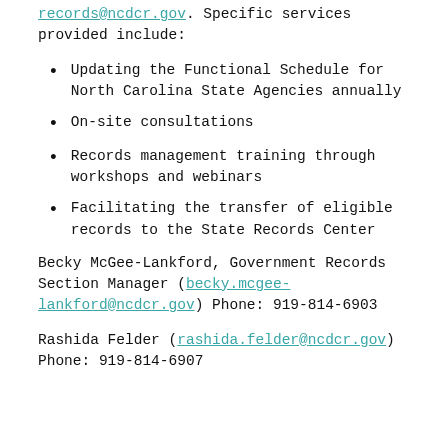records@ncdcr.gov. Specific services provided include:
Updating the Functional Schedule for North Carolina State Agencies annually
On-site consultations
Records management training through workshops and webinars
Facilitating the transfer of eligible records to the State Records Center
Becky McGee-Lankford, Government Records Section Manager (becky.mcgee-lankford@ncdcr.gov) Phone: 919-814-6903
Rashida Felder (rashida.felder@ncdcr.gov) Phone: 919-814-6907